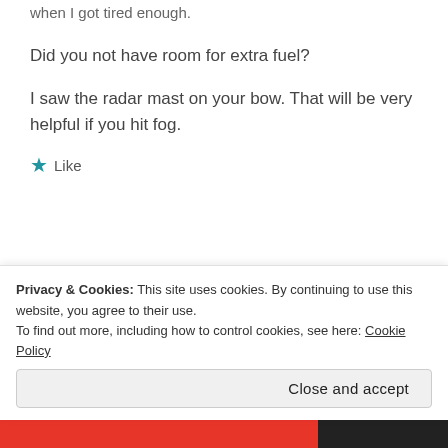when I got tired enough.
Did you not have room for extra fuel?
I saw the radar mast on your bow. That will be very helpful if you hit fog.
★ Like
REPLY ↩
Privacy & Cookies: This site uses cookies. By continuing to use this website, you agree to their use.
To find out more, including how to control cookies, see here: Cookie Policy
Close and accept